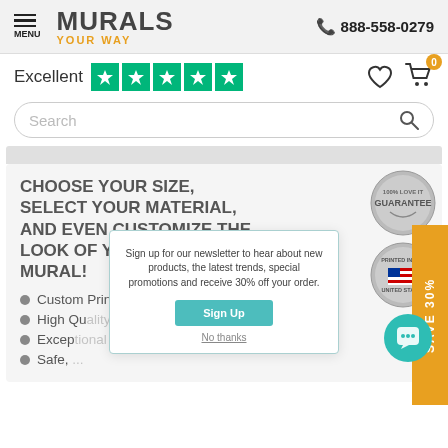MENU  MURALS YOUR WAY  888-558-0279
Excellent ★★★★★
Search
CHOOSE YOUR SIZE, SELECT YOUR MATERIAL, AND EVEN CUSTOMIZE THE LOOK OF YOUR WALL MURAL!
Custom Printing Murals for 40+ Years
High Quality Commercial Grade Materials
Exceptional Customer Service
Safe, ...
Sign up for our newsletter to hear about new products, the latest trends, special promotions and receive 30% off your order.
Sign Up
No thanks